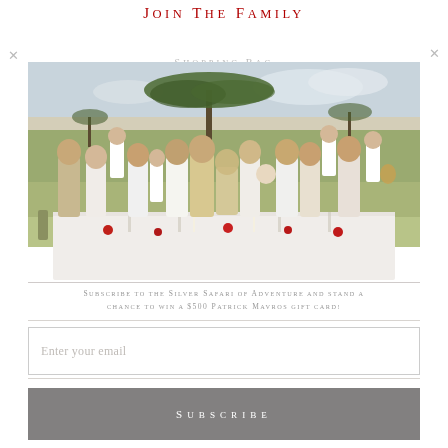Join The Family
[Figure (photo): Family group photo outdoors in African savanna landscape. Large family gathered around a table with white tablecloth, red roses, candles and champagne glasses. Trees and green grassland in background.]
Subscribe to the Silver Safari of Adventure and stand a chance to win a $500 Patrick Mavros gift card!
Enter your email
Subscribe